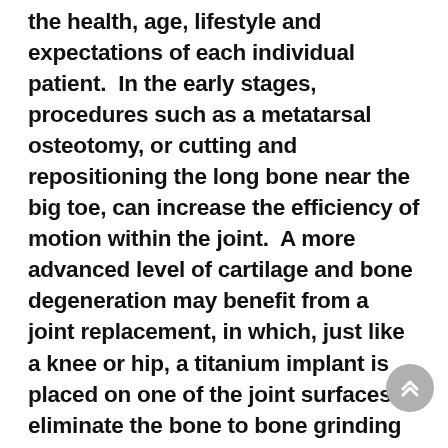the health, age, lifestyle and expectations of each individual patient.  In the early stages, procedures such as a metatarsal osteotomy, or cutting and repositioning the long bone near the big toe, can increase the efficiency of motion within the joint.  A more advanced level of cartilage and bone degeneration may benefit from a joint replacement, in which, just like a knee or hip, a titanium implant is placed on one of the joint surfaces to eliminate the bone to bone grinding and friction that is often the source of pain.  And a severely arthritic joint is amenable to surgical fusion, which involves removing the remaining cartilage and locking the joint in place, thus permanently eliminating arthritis pain.